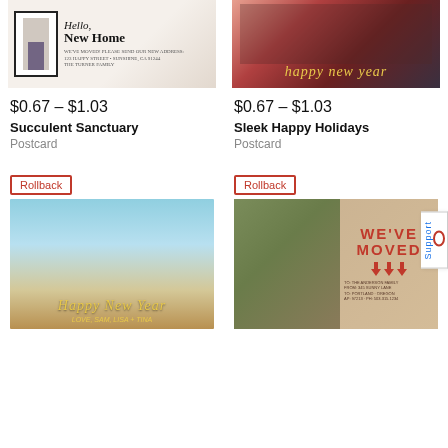[Figure (photo): Postcard template 'Succulent Sanctuary' - Hello, New Home card with light background and script text]
[Figure (photo): Postcard template 'Sleek Happy Holidays' - family photo with happy new year text in gold script]
$0.67 – $1.03
Succulent Sanctuary
Postcard
$0.67 – $1.03
Sleek Happy Holidays
Postcard
Rollback
Rollback
[Figure (photo): Postcard template - family of three at beach, Happy New Year in gold script]
[Figure (photo): Postcard template - We've Moved card with woman and children photo, red bold text on kraft background]